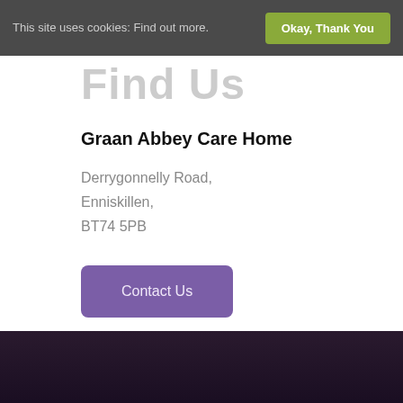This site uses cookies: Find out more.
Okay, Thank You
Find Us
Graan Abbey Care Home
Derrygonnelly Road,
Enniskillen,
BT74 5PB
Contact Us